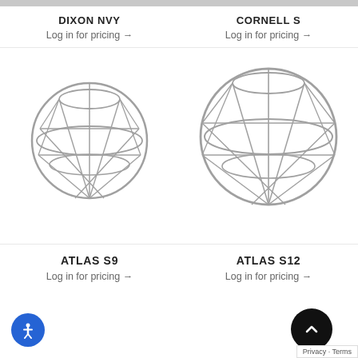DIXON NVY
Log in for pricing →
CORNELL S
Log in for pricing →
[Figure (illustration): Wire sphere / globe decorative object - ATLAS S9, smaller size]
[Figure (illustration): Wire sphere / globe decorative object - ATLAS S12, larger size]
ATLAS S9
Log in for pricing →
ATLAS S12
Log in for pricing →